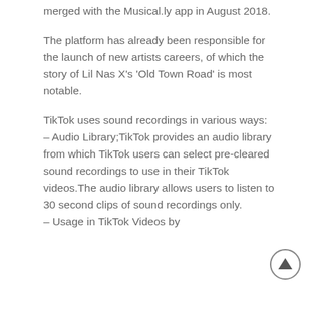merged with the Musical.ly app in August 2018.
The platform has already been responsible for the launch of new artists careers, of which the story of Lil Nas X's 'Old Town Road' is most notable.
TikTok uses sound recordings in various ways:
– Audio Library;TikTok provides an audio library from which TikTok users can select pre-cleared sound recordings to use in their TikTok videos.The audio library allows users to listen to 30 second clips of sound recordings only.
– Usage in TikTok Videos by